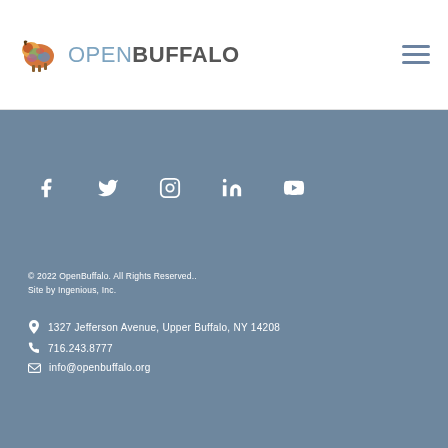OPENBUFFALO
[Figure (logo): Open Buffalo colorful bison logo with OPENBUFFALO text]
© 2022 OpenBuffalo. All Rights Reserved.. Site by Ingenious, Inc.
1327 Jefferson Avenue, Upper Buffalo, NY 14208
716.243.8777
info@openbuffalo.org